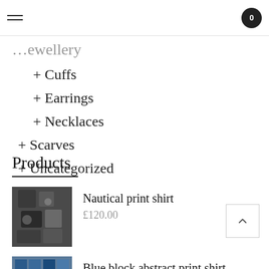[hamburger menu] [cart icon with 0]
...Jewellery (partial)
+ Cuffs
+ Earrings
+ Necklaces
+ Scarves
+ Uncategorized
Products
Nautical print shirt
£120.00
Blue block abstract print shirt
£145.00